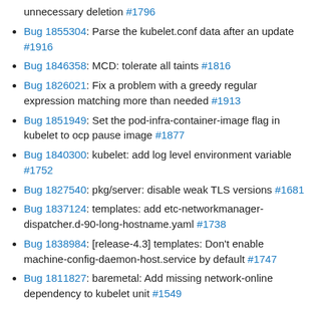unnecessary deletion #1796
Bug 1855304: Parse the kubelet.conf data after an update #1916
Bug 1846358: MCD: tolerate all taints #1816
Bug 1826021: Fix a problem with a greedy regular expression matching more than needed #1913
Bug 1851949: Set the pod-infra-container-image flag in kubelet to ocp pause image #1877
Bug 1840300: kubelet: add log level environment variable #1752
Bug 1827540: pkg/server: disable weak TLS versions #1681
Bug 1837124: templates: add etc-networkmanager-dispatcher.d-90-long-hostname.yaml #1738
Bug 1838984: [release-4.3] templates: Don't enable machine-config-daemon-host.service by default #1747
Bug 1811827: baremetal: Add missing network-online dependency to kubelet unit #1549